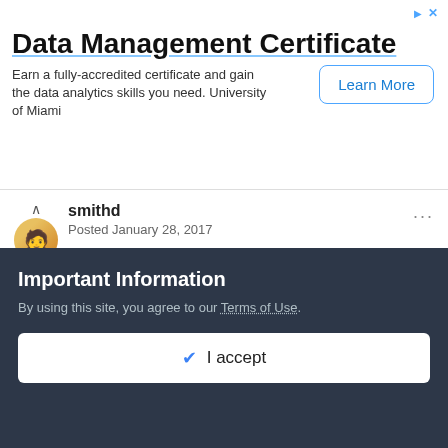[Figure (other): Advertisement banner for Data Management Certificate from University of Miami with a 'Learn More' button]
smithd
Posted January 28, 2017
On 1/27/2017 at 5:01 PM, dterry said:
Agree with the idea that proven technology is safer.  But the amount of work to get something like this working (and working efficiently) seems to negate the advantage of older tech.  I hadn't looked into Cassandra or Scylla yet, but they seem promising (as long as write performance can be
Important Information
By using this site, you agree to our Terms of Use.
✔ I accept